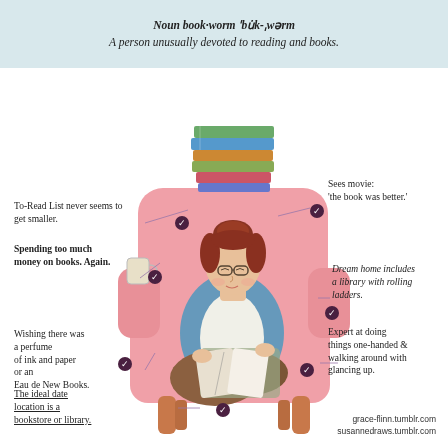Noun book·worm \ˈbu̇k-ˌwərm\ A person unusually devoted to reading and books.
[Figure (illustration): Illustration of a young woman with red hair in a bun, wearing glasses and a blue cardigan, sitting cross-legged in a large pink armchair reading a book. A stack of colorful books sits on top of the chair. A mug sits on the arm of the chair. Various annotations with checkmark circles and connector lines surround the illustration describing bookworm traits.]
To-Read List never seems to get smaller.
Spending too much money on books. Again.
Sees movie: 'the book was better.'
Dream home includes a library with rolling ladders.
Wishing there was a perfume of ink and paper or an Eau de New Books.
Expert at doing things one-handed & walking around with glancing up.
The ideal date location is a bookstore or library.
grace-flinn.tumblr.com
susannedraws.tumblr.com